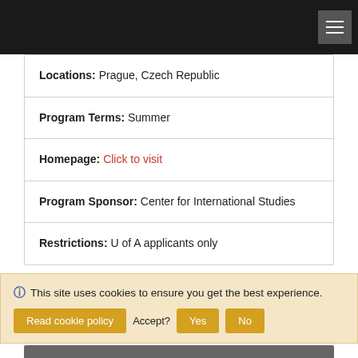Navigation bar with hamburger menu
Locations: Prague, Czech Republic
Program Terms: Summer
Homepage: Click to visit
Program Sponsor: Center for International Studies
Restrictions: U of A applicants only
Apply Now
Dates / Deadlines:
| Summer | 2023 | 04/01/2023 ** | Rolling Admission |
| --- | --- | --- | --- |
| Summer | 2023 | 04/01/2023 ** | Rolling Admission |
This site uses cookies to ensure you get the best experience. Read cookie policy Accept? Yes No